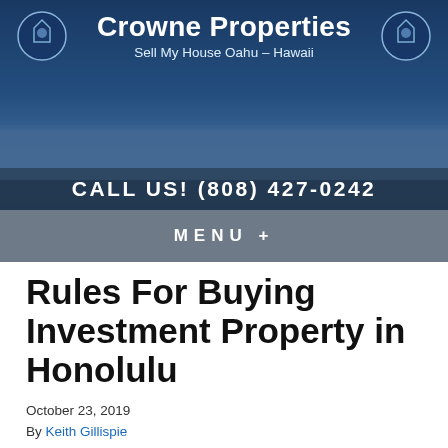Crowne Properties
Sell My House Oahu – Hawaii
CALL US!  (808) 427-0242
MENU +
Rules For Buying Investment Property in Honolulu
October 23, 2019
By Keith Gillispie
Buying investment property in Honolulu is a great way to make additional income for you and your family. Different investors use different calculation methods to determine if